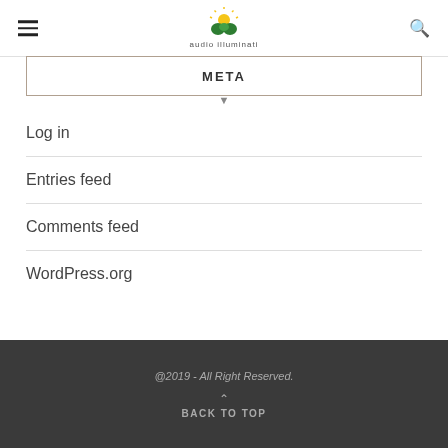audio illuminati
META
Log in
Entries feed
Comments feed
WordPress.org
@2019 - All Right Reserved.
BACK TO TOP